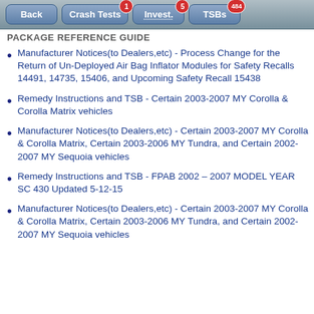Back | Crash Tests (1) | Invest. (5) | TSBs (484)
PACKAGE REFERENCE GUIDE
Manufacturer Notices(to Dealers,etc) - Process Change for the Return of Un-Deployed Air Bag Inflator Modules for Safety Recalls 14491, 14735, 15406, and Upcoming Safety Recall 15438
Remedy Instructions and TSB - Certain 2003-2007 MY Corolla & Corolla Matrix vehicles
Manufacturer Notices(to Dealers,etc) - Certain 2003-2007 MY Corolla & Corolla Matrix, Certain 2003-2006 MY Tundra, and Certain 2002-2007 MY Sequoia vehicles
Remedy Instructions and TSB - FPAB 2002 – 2007 MODEL YEAR SC 430 Updated 5-12-15
Manufacturer Notices(to Dealers,etc) - Certain 2003-2007 MY Corolla & Corolla Matrix, Certain 2003-2006 MY Tundra, and Certain 2002-2007 MY Sequoia vehicles